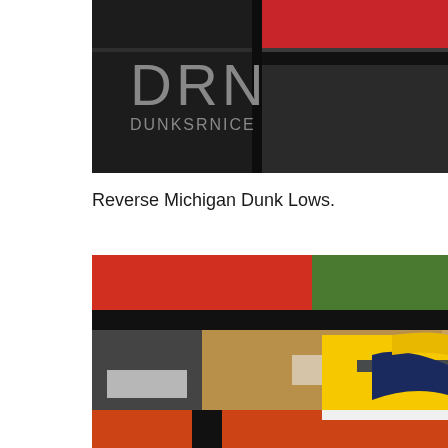[Figure (photo): Top photo showing stacked sneaker boxes in black, red colors with DRN DUNKSRNICE logo overlay on dark background]
Reverse Michigan Dunk Lows.
[Figure (photo): Bottom photo showing a yellow and navy Nike Dunk Low sneaker in front of stacked shoe boxes with orange, red, tan, and black colorways]